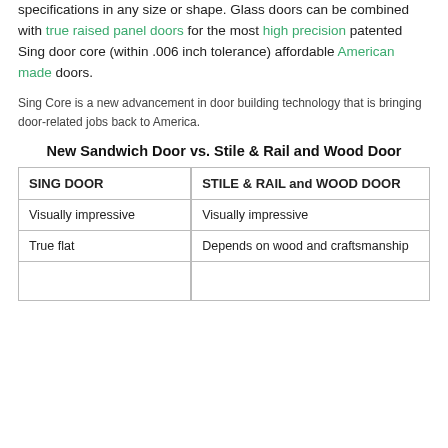specifications in any size or shape. Glass doors can be combined with true raised panel doors for the most high precision patented Sing door core (within .006 inch tolerance) affordable American made doors.
Sing Core is a new advancement in door building technology that is bringing door-related jobs back to America.
New Sandwich Door vs. Stile & Rail and Wood Door
| SING DOOR | STILE & RAIL and WOOD DOOR |
| --- | --- |
| Visually impressive | Visually impressive |
| True flat | Depends on wood and craftsmanship |